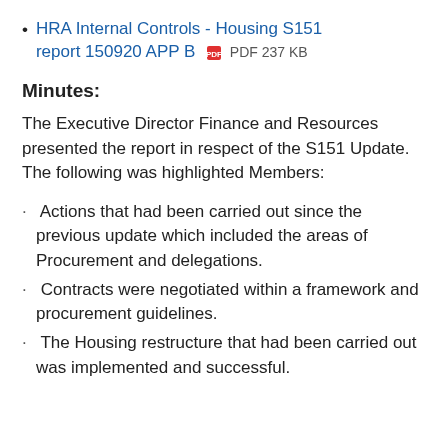HRA Internal Controls - Housing S151 report 150920 APP B  PDF 237 KB
Minutes:
The Executive Director Finance and Resources presented the report in respect of the S151 Update. The following was highlighted Members:
Actions that had been carried out since the previous update which included the areas of Procurement and delegations.
Contracts were negotiated within a framework and procurement guidelines.
The Housing restructure that had been carried out was implemented and successful.